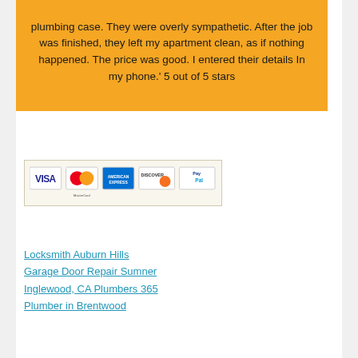plumbing case. They were overly sympathetic. After the job was finished, they left my apartment clean, as if nothing happened. The price was good. I entered their details In my phone.' 5 out of 5 stars
[Figure (other): Payment method icons: VISA, MasterCard, American Express, Discover, PayPal]
Locksmith Auburn Hills
Garage Door Repair Sumner
Inglewood, CA Plumbers 365
Plumber in Brentwood